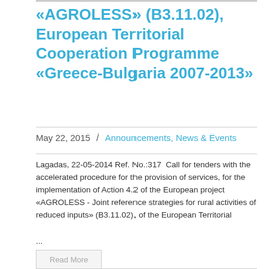«AGROLESS» (B3.11.02), European Territorial Cooperation Programme «Greece-Bulgaria 2007-2013»
May 22, 2015  /  Announcements, News & Events
Lagadas, 22-05-2014 Ref. No.:317  Call for tenders with the accelerated procedure for the provision of services, for the implementation of Action 4.2 of the European project «AGROLESS - Joint reference strategies for rural activities of reduced inputs» (B3.11.02), of the European Territorial ...
Read More